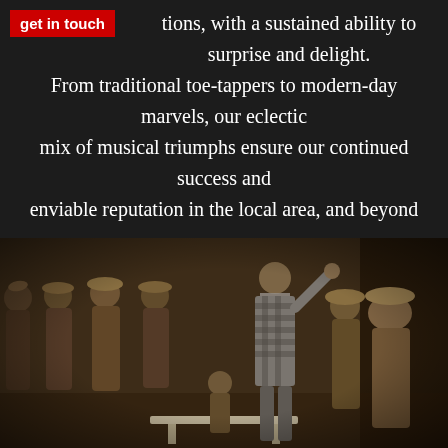get in touch
tions, with a sustained ability to surprise and delight. From traditional toe-tappers to modern-day marvels, our eclectic mix of musical triumphs ensure our continued success and enviable reputation in the local area, and beyond
[Figure (photo): Sepia-toned vintage photograph of a theatrical stage production showing performers in period costumes, including a man in a checkered suit with his arm raised and several women in Victorian-era dresses and bonnets]